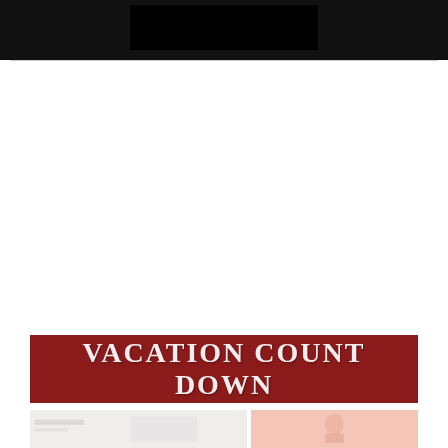[Figure (photo): Dark/black image banner at top of page]
[Figure (infographic): Red banner with text VACATION COUNT DOWN in white distressed serif font]
[Figure (photo): Two partial thumbnail images at bottom: left is light gray/white room scene, right is pink/rose toned image]